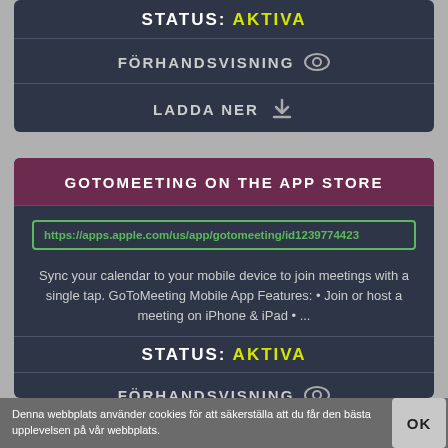STATUS: AKTIVA
FÖRHANDSVISNING
LADDA NER
GOTOMEETING ON THE APP STORE
https://apps.apple.com/us/app/gotomeeting/id1239774423
Sync your calendar to your mobile device to join meetings with a single tap. GoToMeeting Mobile App Features: • Join or host a meeting on iPhone & iPad • ...
STATUS: AKTIVA
FÖRHANDSVISNING
Denna webbplats använder cookies för att säkerställa att du får den bästa upplevelsen på vår webbplats.
OK